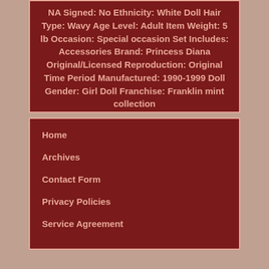NA Signed: No Ethnicity: White Doll Hair Type: Wavy Age Level: Adult Item Weight: 5 lb Occasion: Special occasion Set Includes: Accessories Brand: Princess Diana Original/Licensed Reproduction: Original Time Period Manufactured: 1990-1999 Doll Gender: Girl Doll Franchise: Franklin mint collection
Home
Archives
Contact Form
Privacy Policies
Service Agreement